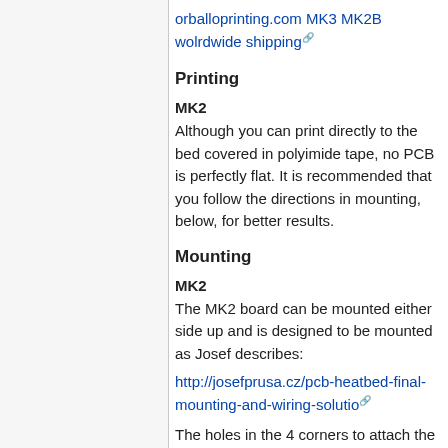orballoprinting.com MK3 MK2B wolrdwide shipping
Printing
MK2
Although you can print directly to the bed covered in polyimide tape, no PCB is perfectly flat. It is recommended that you follow the directions in mounting, below, for better results.
Mounting
MK2
The MK2 board can be mounted either side up and is designed to be mounted as Josef describes:
http://josefprusa.cz/pcb-heatbed-final-mounting-and-wiring-solutio
The holes in the 4 corners to attach the